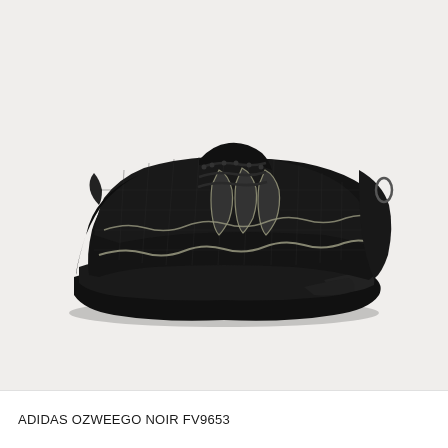[Figure (photo): Product photo of an Adidas Ozweego Noir FV9653 sneaker shown in left lateral profile view. The shoe is predominantly black with mesh upper, chunky black midsole, and subtle metallic/silver Adidas stripe detailing. Background is a light gray/off-white.]
ADIDAS OZWEEGO NOIR FV9653